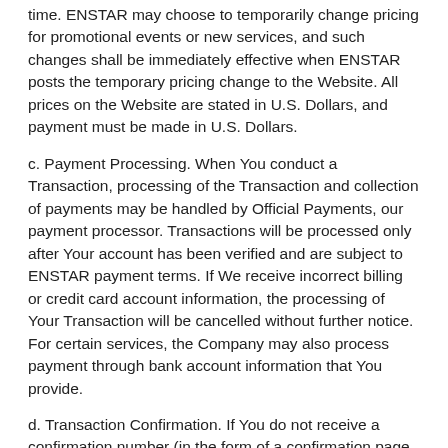time. ENSTAR may choose to temporarily change pricing for promotional events or new services, and such changes shall be immediately effective when ENSTAR posts the temporary pricing change to the Website. All prices on the Website are stated in U.S. Dollars, and payment must be made in U.S. Dollars.
c. Payment Processing. When You conduct a Transaction, processing of the Transaction and collection of payments may be handled by Official Payments, our payment processor. Transactions will be processed only after Your account has been verified and are subject to ENSTAR payment terms. If We receive incorrect billing or credit card account information, the processing of Your Transaction will be cancelled without further notice. For certain services, the Company may also process payment through bank account information that You provide.
d. Transaction Confirmation. If You do not receive a confirmation number (in the form of a confirmation page or email) after submitting payment information, or if You experience an error message or service interruption after submitting payment information, it is Your responsibility to confirm with ENSTAR whether or not Your Transaction has been completed.